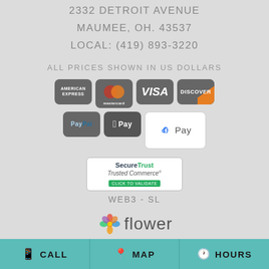2332 DETROIT AVENUE
MAUMEE, OH. 43537
LOCAL: (419) 893-3220
ALL PRICES SHOWN IN US DOLLARS
[Figure (illustration): Payment method icons: American Express, Mastercard, Visa, Discover, PayPal, Apple Pay, Google Pay]
[Figure (logo): SecureTrust Trusted Commerce - CLICK TO VALIDATE badge]
WEB3 - SL
[Figure (logo): Flower shop logo with colorful flower icon and text 'flower']
CALL   MAP   HOURS